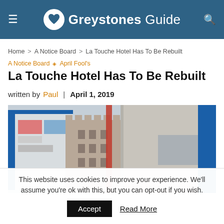Greystones Guide
Home > A Notice Board > La Touche Hotel Has To Be Rebuilt
A Notice Board  ◇  April Fool's
La Touche Hotel Has To Be Rebuilt
written by Paul  |  April 1, 2019
[Figure (photo): Exterior of La Touche Hotel building, derelict facade with blue billboard frame on the left, old stone building tower in center, and grey rendered wall with blue window frame on the right, under overcast sky.]
This website uses cookies to improve your experience. We'll assume you're ok with this, but you can opt-out if you wish.
Accept   Read More